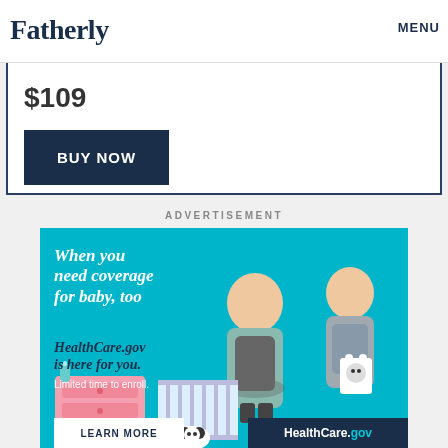Fatherly  MENU
weighs only four ounces and has an anodized aluminum wallet frame.
$109
BUY NOW
ADVERTISEMENT
[Figure (photo): HealthCare.gov advertisement banner on teal background showing a pregnant woman and a man holding a baby onesie, with illustrated baby furniture (dresser and crib). Text reads: 'When you need coverage for baby, too. HealthCare.gov is here for you. Limited time to enroll. LEARN MORE. HealthCare.gov']